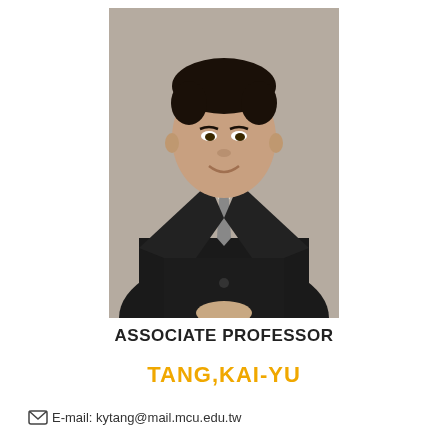[Figure (photo): Portrait photo of Tang Kai-Yu, a young Asian man in a black suit with a grey tie, smiling, against a grey background.]
ASSOCIATE PROFESSOR
TANG,KAI-YU
E-mail: kytang@mail.mcu.edu.tw